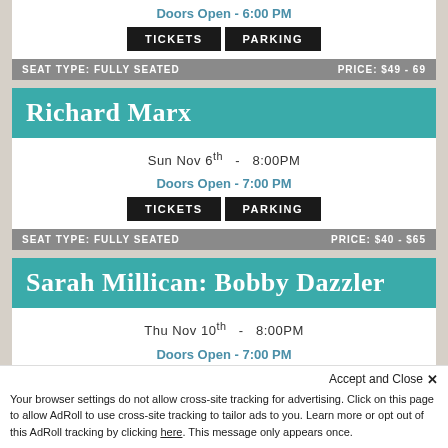Doors Open - 6:00 PM
TICKETS   PARKING
SEAT TYPE: FULLY SEATED   PRICE: $49 - 69
Richard Marx
Sun Nov 6th  -  8:00PM
Doors Open - 7:00 PM
TICKETS   PARKING
SEAT TYPE: FULLY SEATED   PRICE: $40 - $65
Sarah Millican: Bobby Dazzler
Thu Nov 10th  -  8:00PM
Doors Open - 7:00 PM
TICKETS   PARKING
Accept and Close ×
Your browser settings do not allow cross-site tracking for advertising. Click on this page to allow AdRoll to use cross-site tracking to tailor ads to you. Learn more or opt out of this AdRoll tracking by clicking here. This message only appears once.